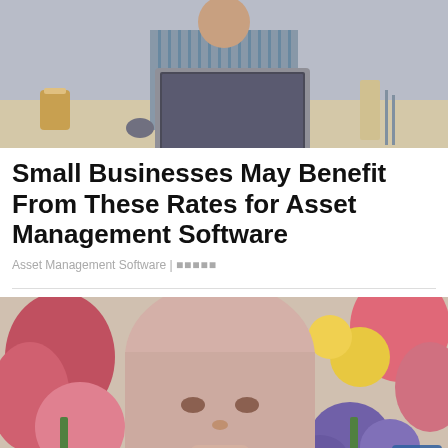[Figure (photo): Person in striped shirt working on a laptop at an office desk, with a coffee cup and supplies in background]
Small Businesses May Benefit From These Rates for Asset Management Software
Asset Management Software | 광고광고
[Figure (photo): Young woman with light pink hair posing among colorful flowers including pink lilies and purple flowers, with a small logo overlay in the bottom right corner]